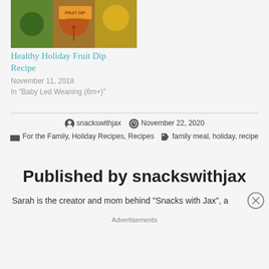[Figure (photo): Photo of a Healthy Holiday Fruit Dip recipe with fruits and a sign]
Healthy Holiday Fruit Dip Recipe
November 11, 2018
In "Baby Led Weaning (6m+)"
snackswithjax   November 22, 2020
For the Family, Holiday Recipes, Recipes   family meal, holiday, recipe
Published by snackswithjax
Sarah is the creator and mom behind "Snacks with Jax", a
Advertisements